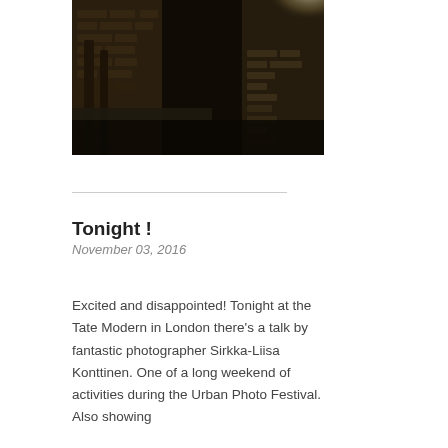[Figure (photo): Dark interior of a brick building or alleyway with stone columns and bright light coming through an opening at the top]
Tonight !
November 03, 2016
Excited and disappointed! Tonight at the Tate Modern in London there’s a talk by fantastic photographer Sirkka-Liisa Konttinen. One of a long weekend of activities during the Urban Photo Festival. Also showing